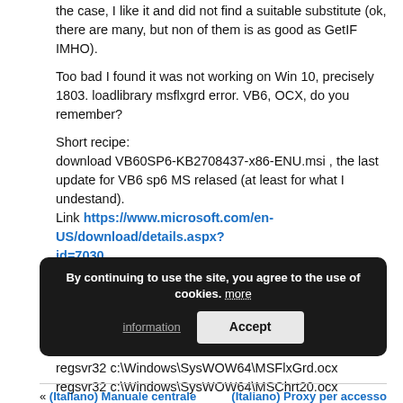the case, I like it and did not find a suitable substitute (ok, there are many, but non of them is as good as GetIF IMHO).
Too bad I found it was not working on Win 10, precisely 1803. loadlibrary msflxgrd error. VB6, OCX, do you remember?
Short recipe:
download VB60SP6-KB2708437-x86-ENU.msi , the last update for VB6 sp6 MS relased (at least for what I undestand).
Link https://www.microsoft.com/en-US/download/details.aspx?id=7030
I did not want to install the whole thing, so only extract MSFlxGrd.ocx and MSChrt20.ocx to %windir%/SysWOW64 (usually c:\windows\SysWOW64)
Open up an administrator cmd.exe, and execute:
regsvr32 c:\Windows\SysWOW64\MSFlxGrd.ocx
regsvr32 c:\Windows\SysWOW64\MSChrt20.ocx
By continuing to use the site, you agree to the use of cookies. more information Accept
« (Italiano) Manuale centrale    (Italiano) Proxy per accesso